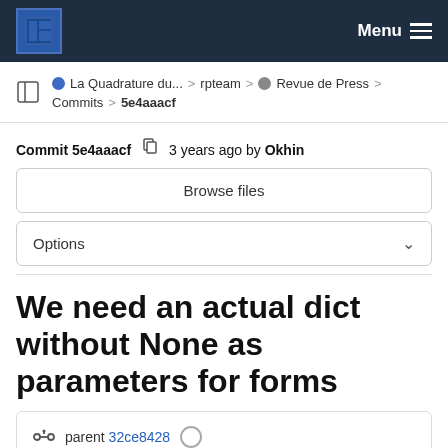Menu
La Quadrature du... > rpteam > Revue de Press > Commits > 5e4aaacf
Commit 5e4aaacf  3 years ago by Okhin
Browse files
Options
We need an actual dict without None as parameters for forms
parent 32ce8428